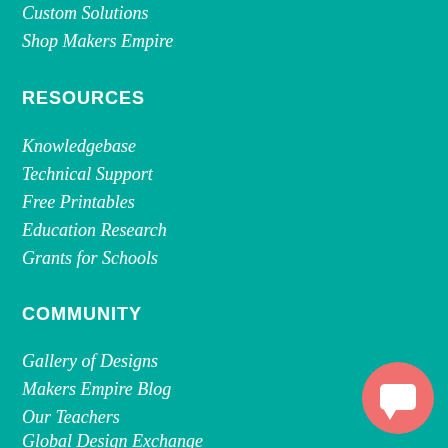Custom Solutions
Shop Makers Empire
RESOURCES
Knowledgebase
Technical Support
Free Printables
Education Research
Grants for Schools
COMMUNITY
Gallery of Designs
Makers Empire Blog
Our Teachers
Global Design Exchange
Design Thinking Competitions
[Figure (illustration): Pink circular chat/message button in bottom right corner]